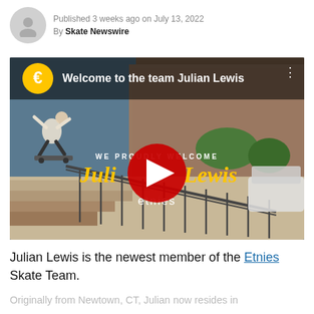Published 3 weeks ago on July 13, 2022
By Skate Newswire
[Figure (screenshot): YouTube video thumbnail for 'Welcome to the team Julian Lewis' by etnies, showing a skateboarder grinding a rail in front of a brick building. Red YouTube play button in center. Text overlay reads 'WE PROUDLY WELCOME Julian Lewis etnies'.]
Julian Lewis is the newest member of the Etnies Skate Team.
Originally from Newtown, CT, Julian now resides in